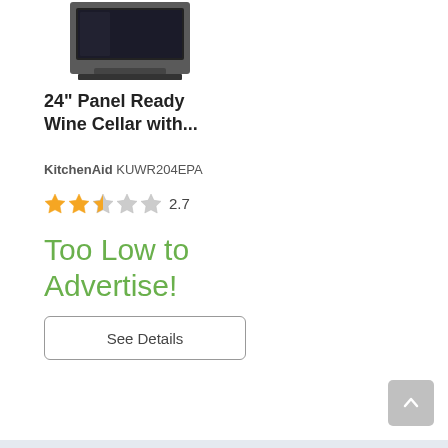[Figure (photo): Partial view of a KitchenAid 24-inch Panel Ready Wine Cellar appliance, showing the top portion of a dark-tinted glass front panel in a stainless steel frame]
24" Panel Ready Wine Cellar with...
KitchenAid KUWR204EPA
2.7 stars rating
Too Low to Advertise!
See Details